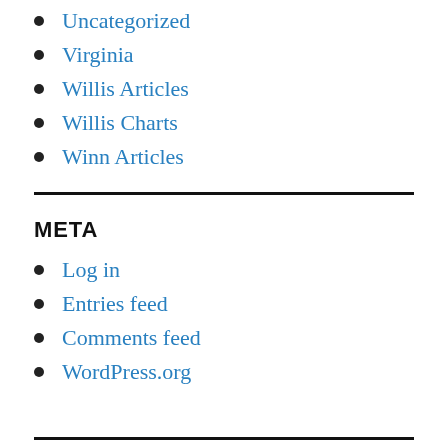Uncategorized
Virginia
Willis Articles
Willis Charts
Winn Articles
META
Log in
Entries feed
Comments feed
WordPress.org